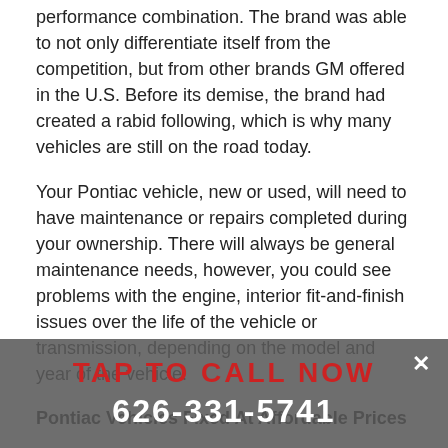performance combination. The brand was able to not only differentiate itself from the competition, but from other brands GM offered in the U.S. Before its demise, the brand had created a rabid following, which is why many vehicles are still on the road today.
Your Pontiac vehicle, new or used, will need to have maintenance or repairs completed during your ownership. There will always be general maintenance needs, however, you could see problems with the engine, interior fit-and-finish issues over the life of the vehicle or transmission, depending on the model and year of the vehicle.
Pontiac Vehicles Fixed At Affordable Prices
Genesis Auto Service has a knowledgeable and friendly staff ready and waiting to fix your Pontiac vehicle and get you and your car back on the road as soon as possible. Genesis Auto Service prides itself on offering affordable and efficient repairs that get you back on the road without breaking your wallet. We are waiting to service all your Pontiac needs. Give us a call at 626-331-5741. You can also stop by our service center to meet our inviting
TAP TO CALL NOW
626-331-5741